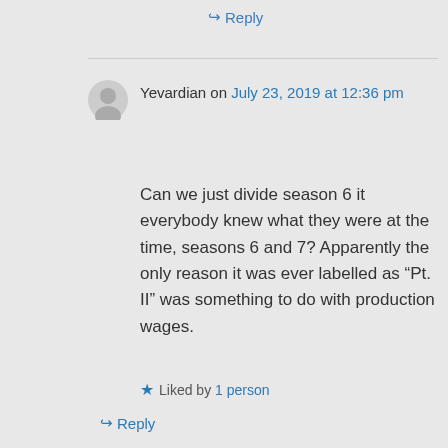↪ Reply
Yevardian on July 23, 2019 at 12:36 pm
Can we just divide season 6 it everybody knew what they were at the time, seasons 6 and 7? Apparently the only reason it was ever labelled as “Pt. II” was something to do with production wages.
★ Liked by 1 person
↪ Reply